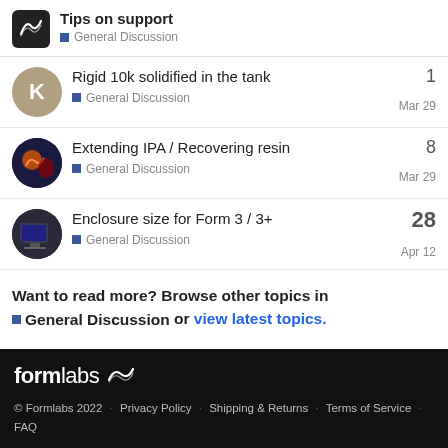Tips on support — General Discussion
Rigid 10k solidified in the tank — General Discussion — Mar 29 — 1 reply
Extending IPA / Recovering resin — General Discussion — Mar 29 — 8 replies
Enclosure size for Form 3 / 3+ — General Discussion — Apr 12 — 28 replies
Want to read more? Browse other topics in General Discussion or view latest topics.
formlabs © Formlabs 2022 · Privacy Policy · Shipping & Returns · Terms of Service · FAQ